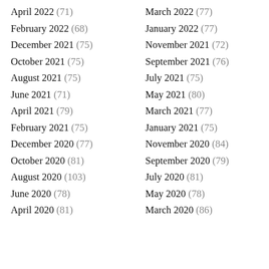April 2022 (71)
March 2022 (77)
February 2022 (68)
January 2022 (77)
December 2021 (75)
November 2021 (72)
October 2021 (75)
September 2021 (76)
August 2021 (75)
July 2021 (75)
June 2021 (71)
May 2021 (80)
April 2021 (79)
March 2021 (77)
February 2021 (75)
January 2021 (75)
December 2020 (77)
November 2020 (84)
October 2020 (81)
September 2020 (79)
August 2020 (103)
July 2020 (81)
June 2020 (78)
May 2020 (78)
April 2020 (81)
March 2020 (86)